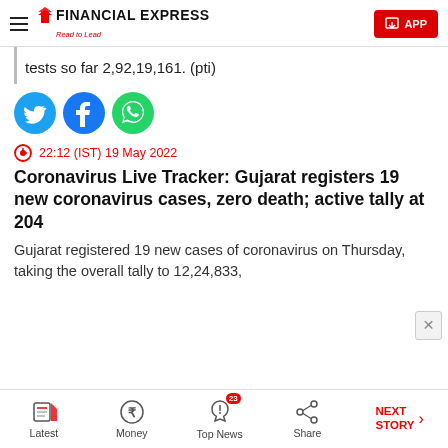FINANCIAL EXPRESS — Read to Lead
tests so far 2,92,19,161. (pti)
[Figure (illustration): Social share icons: Twitter (cyan), Facebook (blue), WhatsApp (green)]
22:12 (IST) 19 May 2022
Coronavirus Live Tracker: Gujarat registers 19 new coronavirus cases, zero death; active tally at 204
Gujarat registered 19 new cases of coronavirus on Thursday, taking the overall tally to 12,24,833,
Latest | Money | Top News (23) | Share | NEXT STORY